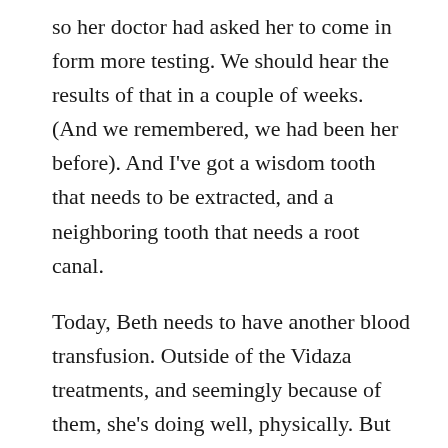so her doctor had asked her to come in form more testing. We should hear the results of that in a couple of weeks. (And we remembered, we had been her before). And I've got a wisdom tooth that needs to be extracted, and a neighboring tooth that needs a root canal.
Today, Beth needs to have another blood transfusion. Outside of the Vidaza treatments, and seemingly because of them, she's doing well, physically. But there are pesky, annoying reminders of the leukemia. Her red count continues to fall. Though her other blood levels rise and fall, her red blood counts have only gone in one direction.
And without knowing precisely what is the cause, she had a fairly major headache last night. (I chided her, it's